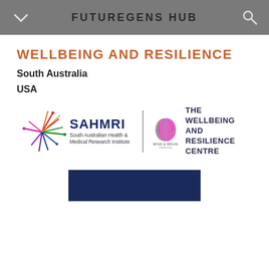FUTUREGENS HUB
WELLBEING AND RESILIENCE
South Australia
USA
[Figure (logo): SAHMRI South Australian Health & Medical Research Institute logo with colorful starburst graphic, alongside Mind & Brain logo and 'THE WELLBEING AND RESILIENCE CENTRE' text]
[Figure (photo): Partial image of a dark navy blue background, appears to be a second organization logo or image, partially cut off at bottom of page]